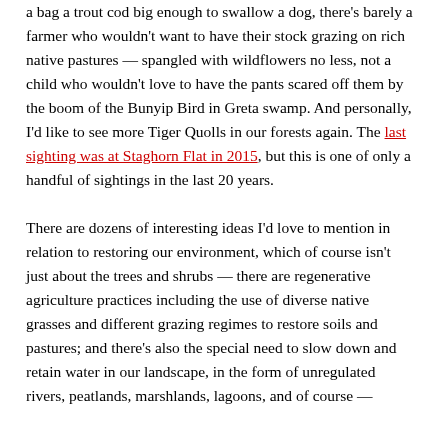a bag a trout cod big enough to swallow a dog, there's barely a farmer who wouldn't want to have their stock grazing on rich native pastures — spangled with wildflowers no less, not a child who wouldn't love to have the pants scared off them by the boom of the Bunyip Bird in Greta swamp. And personally, I'd like to see more Tiger Quolls in our forests again. The last sighting was at Staghorn Flat in 2015, but this is one of only a handful of sightings in the last 20 years.

There are dozens of interesting ideas I'd love to mention in relation to restoring our environment, which of course isn't just about the trees and shrubs — there are regenerative agriculture practices including the use of diverse native grasses and different grazing regimes to restore soils and pastures; and there's also the special need to slow down and retain water in our landscape, in the form of unregulated rivers, peatlands, marshlands, lagoons, and of course —